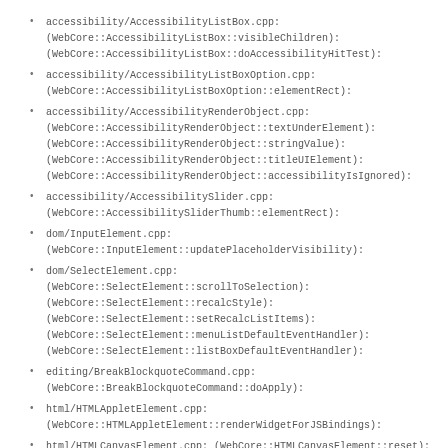accessibility/AccessibilityListBox.cpp: (WebCore::AccessibilityListBox::visibleChildren): (WebCore::AccessibilityListBox::doAccessibilityHitTest):
accessibility/AccessibilityListBoxOption.cpp: (WebCore::AccessibilityListBoxOption::elementRect):
accessibility/AccessibilityRenderObject.cpp: (WebCore::AccessibilityRenderObject::textUnderElement): (WebCore::AccessibilityRenderObject::stringValue): (WebCore::AccessibilityRenderObject::titleUIElement): (WebCore::AccessibilityRenderObject::accessibilityIsIgnored):
accessibility/AccessibilitySlider.cpp: (WebCore::AccessibilitySliderThumb::elementRect):
dom/InputElement.cpp: (WebCore::InputElement::updatePlaceholderVisibility):
dom/SelectElement.cpp: (WebCore::SelectElement::scrollToSelection): (WebCore::SelectElement::recalcStyle): (WebCore::SelectElement::setRecalcListItems): (WebCore::SelectElement::menuListDefaultEventHandler): (WebCore::SelectElement::listBoxDefaultEventHandler):
editing/BreakBlockquoteCommand.cpp: (WebCore::BreakBlockquoteCommand::doApply):
html/HTMLAppletElement.cpp: (WebCore::HTMLAppletElement::renderWidgetForJSBindings):
html/HTMLCanvasElement.cpp: (WebCore::HTMLCanvasElement::reset):
html/HTMLEmbedElement.cpp: (WebCore::HTMLEmbedElement::updateWidget):